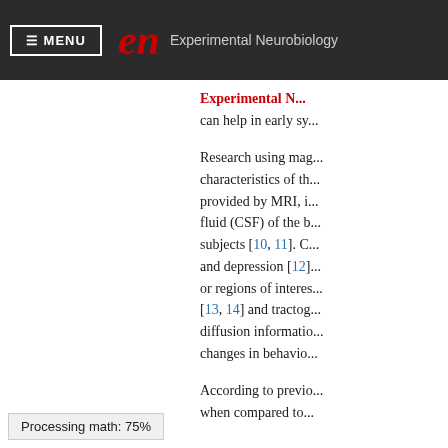≡ MENU  en  Experimental Neurobiology
Experimental Neurobiology can help in early sy...
Research using mag... characteristics of th... provided by MRI, i... fluid (CSF) of the b... subjects [10, 11]. C... and depression [12]... or regions of interes... [13, 14] and tractog... diffusion informatio... changes in behavio...
According to previo... when compared to...
Processing math: 75%